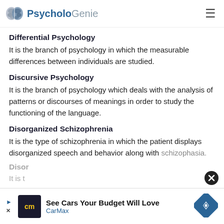PsycholoGenie
Differential Psychology
It is the branch of psychology in which the measurable differences between individuals are studied.
Discursive Psychology
It is the branch of psychology which deals with the analysis of patterns or discourses of meanings in order to study the functioning of the language.
Disorganized Schizophrenia
It is the type of schizophrenia in which the patient displays disorganized speech and behavior along with schizophasia.
Disor
It is t
[Figure (screenshot): Advertisement overlay: CarMax ad saying 'See Cars Your Budget Will Love' with CarMax logo and blue diamond navigation icon. A close button (X in circle) appears above right.]